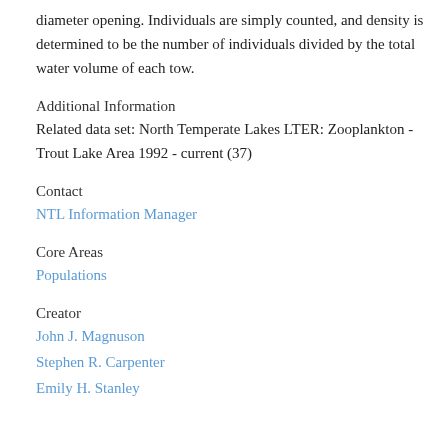diameter opening. Individuals are simply counted, and density is determined to be the number of individuals divided by the total water volume of each tow.
Additional Information
Related data set: North Temperate Lakes LTER: Zooplankton - Trout Lake Area 1992 - current (37)
Contact
NTL Information Manager
Core Areas
Populations
Creator
John J. Magnuson
Stephen R. Carpenter
Emily H. Stanley